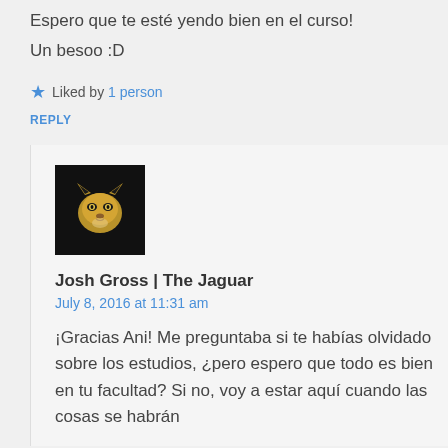Espero que te esté yendo bien en el curso!
Un besoo :D
★ Liked by 1 person
REPLY
[Figure (photo): Black square avatar image with a golden jaguar face logo]
Josh Gross | The Jaguar
July 8, 2016 at 11:31 am
¡Gracias Ani! Me preguntaba si te habías olvidado sobre los estudios, ¿pero espero que todo es bien en tu facultad? Si no, voy a estar aquí cuando las cosas se habrán